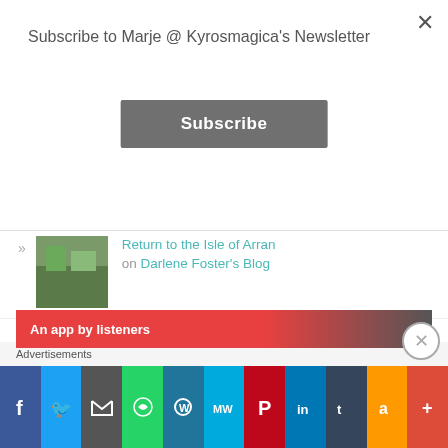Subscribe to Marje @ Kyrosmagica's Newsletter
Subscribe
Return to the Isle of Arran on Darlene Foster's Blog
Women Like Us by @MrsAmandaPro... on But I Smile Anyway...
The Other Side of Silence - Do... on SamIAmReading
Blog Holiday on So where's the snow?
Advertisements
An app by listeners